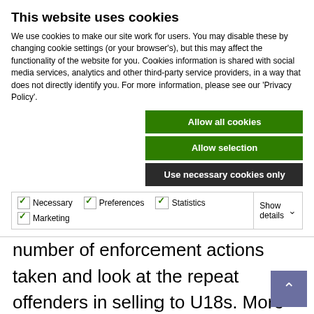This website uses cookies
We use cookies to make our site work for users. You may disable these by changing cookie settings (or your browser's), but this may affect the functionality of the website for you. Cookies information is shared with social media services, analytics and other third-party service providers, in a way that does not directly identify you. For more information, please see our 'Privacy Policy'.
Allow all cookies
Allow selection
Use necessary cookies only
Necessary  Preferences  Statistics  Marketing  Show details
number of enforcement actions taken and look at the repeat offenders in selling to U18s. More ambitiously, the PSU hopes to “kick start a culture change where it will be less acceptable to get drunk and behave in an anti-social or violent manner”